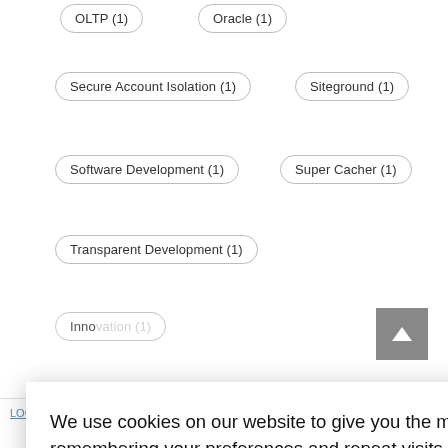OLTP (1)
Oracle (1)
Secure Account Isolation (1)
Siteground (1)
Software Development (1)
Super Cacher (1)
Transparent Development (1)
ot AI (1)
We use cookies on our website to give you the most relevant experience by remembering your preferences and repeat visits. By clicking “Accept All”, you consent to the use of ALL the cookies. However, you may visit "Cookie Settings" to provide a controlled consent.
Cookie Settings  Accept All